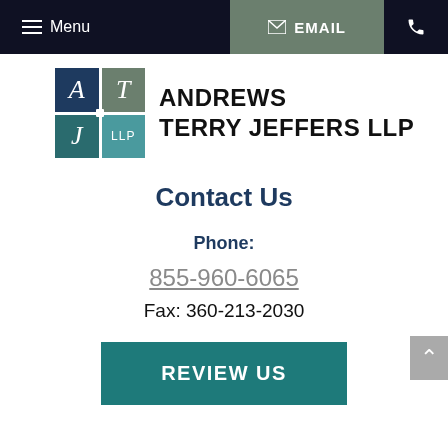Menu | EMAIL | Phone
[Figure (logo): Andrews Terry Jeffers LLP logo grid with letters A, T, J, LLP in blue, olive, teal, and light teal quadrants]
ANDREWS TERRY JEFFERS LLP
Contact Us
Phone:
855-960-6065
Fax: 360-213-2030
REVIEW US